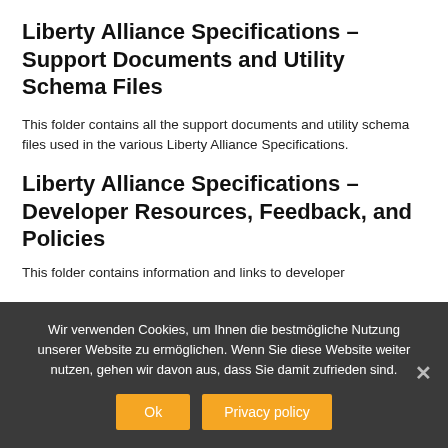Liberty Alliance Specifications – Support Documents and Utility Schema Files
This folder contains all the support documents and utility schema files used in the various Liberty Alliance Specifications.
Liberty Alliance Specifications – Developer Resources, Feedback, and Policies
This folder contains information and links to developer
Wir verwenden Cookies, um Ihnen die bestmögliche Nutzung unserer Website zu ermöglichen. Wenn Sie diese Website weiter nutzen, gehen wir davon aus, dass Sie damit zufrieden sind.
Ok   Privacy policy